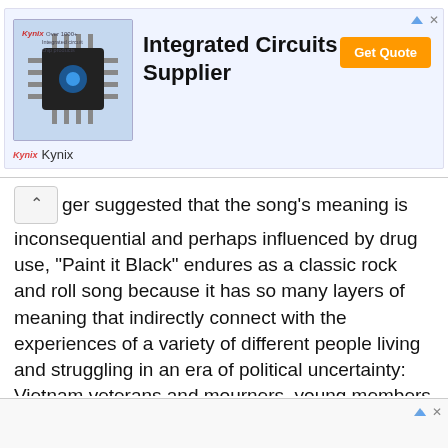[Figure (other): Kynix advertisement banner for Integrated Circuits Supplier with chip image, 'Get Quote' orange button, and Kynix logo]
ger suggested that the song's meaning is inconsequential and perhaps influenced by drug use, "Paint it Black" endures as a classic rock and roll song because it has so many layers of meaning that indirectly connect with the experiences of a variety of different people living and struggling in an era of political uncertainty: Vietnam veterans and mourners, young members of the counterculture, Black Americans struggling during the Civil Rights movement and really anyone experiencing a sense of restlessness and dissatisfaction during a tumultuous time in American history.
[Figure (other): Bottom advertisement banner strip]